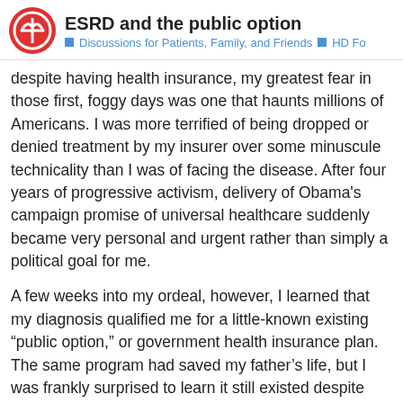ESRD and the public option — Discussions for Patients, Family, and Friends — HD Fo
despite having health insurance, my greatest fear in those first, foggy days was one that haunts millions of Americans. I was more terrified of being dropped or denied treatment by my insurer over some minuscule technicality than I was of facing the disease. After four years of progressive activism, delivery of Obama's campaign promise of universal healthcare suddenly became very personal and urgent rather than simply a political goal for me.
A few weeks into my ordeal, however, I learned that my diagnosis qualified me for a little-known existing “public option,” or government health insurance plan. The same program had saved my father’s life, but I was frankly surprised to learn it still existed despite numerous legislative changes through the decades. Today, almost a year after my diagnosis and amid the disheartening acrimony and willful misinformation pervading our healthcare debate, I can bear witness to what constitutes “socialized medicine” in the United States.
My family’s 36-year journey with end-stage